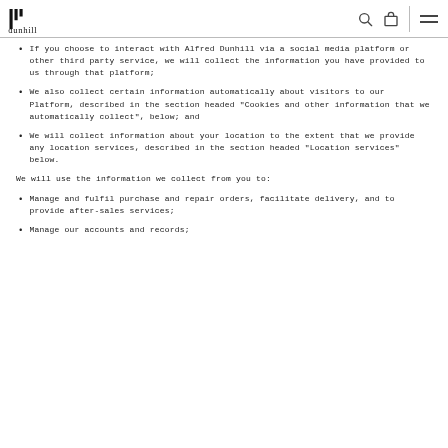dunhill
If you choose to interact with Alfred Dunhill via a social media platform or other third party service, we will collect the information you have provided to us through that platform;
We also collect certain information automatically about visitors to our Platform, described in the section headed "Cookies and other information that we automatically collect", below; and
We will collect information about your location to the extent that we provide any location services, described in the section headed "Location services" below.
We will use the information we collect from you to:
Manage and fulfil purchase and repair orders, facilitate delivery, and to provide after-sales services;
Manage our accounts and records;